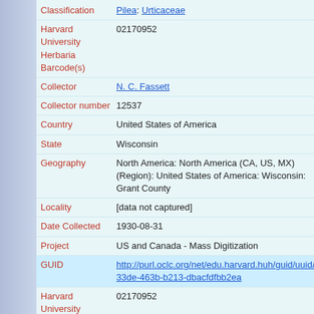Classification: Pilea: Urticaceae
Harvard University Herbaria Barcode(s): 02170952
Collector: N. C. Fassett
Collector number: 12537
Country: United States of America
State: Wisconsin
Geography: North America: North America (CA, US, MX) (Region): United States of America: Wisconsin: Grant County
Locality: [data not captured]
Date Collected: 1930-08-31
Project: US and Canada - Mass Digitization
GUID: http://purl.oclc.org/net/edu.harvard.huh/guid/uuid/10833de-463b-b213-dbacfdfbb2ea
Harvard University Herbaria Barcode: 02170952
Herbarium: GH